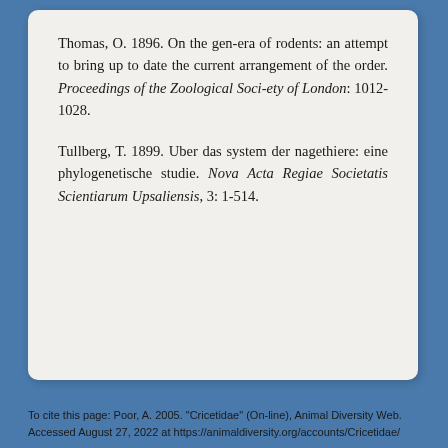Thomas, O. 1896. On the genera of rodents: an attempt to bring up to date the current arrangement of the order. Proceedings of the Zoological Society of London: 1012-1028.
Tullberg, T. 1899. Uber das system der nagethiere: eine phylogenetische studie. Nova Acta Regiae Societatis Scientiarum Upsaliensis, 3: 1-514.
To cite this page: Poor, A. 2005. "Cricetidae" (On-line), Animal Diversity Web. Accessed August 27, 2022 at https://animaldiversity.org/accounts/Cricetidae/